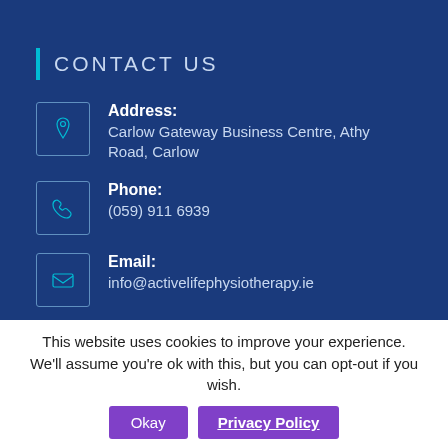CONTACT US
Address: Carlow Gateway Business Centre, Athy Road, Carlow
Phone: (059) 911 6939
Email: info@activelifephysiotherapy.ie
This website uses cookies to improve your experience. We'll assume you're ok with this, but you can opt-out if you wish.